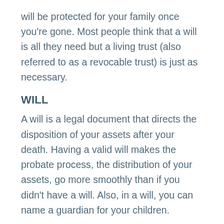will be protected for your family once you're gone. Most people think that a will is all they need but a living trust (also referred to as a revocable trust) is just as necessary.
WILL
A will is a legal document that directs the disposition of your assets after your death. Having a valid will makes the probate process, the distribution of your assets, go more smoothly than if you didn't have a will. Also, in a will, you can name a guardian for your children.
LIVING TRUST